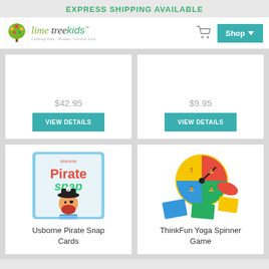EXPRESS SHIPPING AVAILABLE
[Figure (logo): Lime Tree Kids logo with tree icon and stylized text]
$42.95
VIEW DETAILS
$9.95
VIEW DETAILS
[Figure (photo): Usborne Pirate Snap Cards product image showing a cartoon pirate with red beard and parrot]
Usborne Pirate Snap Cards
[Figure (photo): ThinkFun Yoga Spinner Game product image showing a circular spinner board game with colorful yoga pose cards]
ThinkFun Yoga Spinner Game